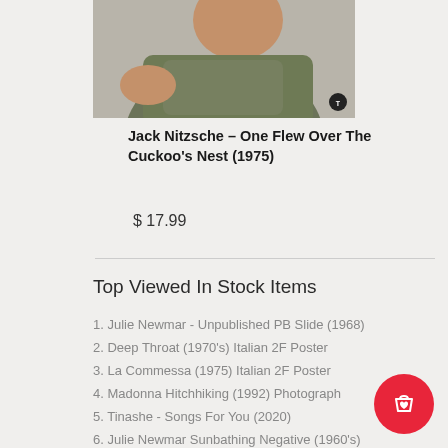[Figure (photo): Partial photo of a person wearing an olive green t-shirt, upper body visible]
Jack Nitzsche – One Flew Over The Cuckoo's Nest (1975)
$ 17.99
Top Viewed In Stock Items
1. Julie Newmar - Unpublished PB Slide (1968)
2. Deep Throat (1970's) Italian 2F Poster
3. La Commessa (1975) Italian 2F Poster
4. Madonna Hitchhiking (1992) Photograph
5. Tinashe - Songs For You (2020)
6. Julie Newmar Sunbathing Negative (1960's)
7. Madame & Her Niece (1970) Italian 2F Poster
8. Miley Cyrus - Bangerz (2021)